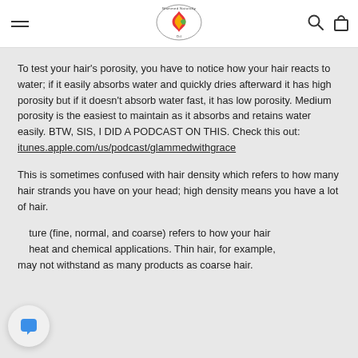Glammed Naturally Oil — navigation header with menu, logo, search, and bag icons
To test your hair's porosity, you have to notice how your hair reacts to water; if it easily absorbs water and quickly dries afterward it has high porosity but if it doesn't absorb water fast, it has low porosity. Medium porosity is the easiest to maintain as it absorbs and retains water easily. BTW, SIS, I DID A PODCAST ON THIS. Check this out: itunes.apple.com/us/podcast/glammedwithgrace
This is sometimes confused with hair density which refers to how many hair strands you have on your head; high density means you have a lot of hair.
...ture (fine, normal, and coarse) refers to how your hair ...heat and chemical applications. Thin hair, for example, may not withstand as many products as coarse hair.